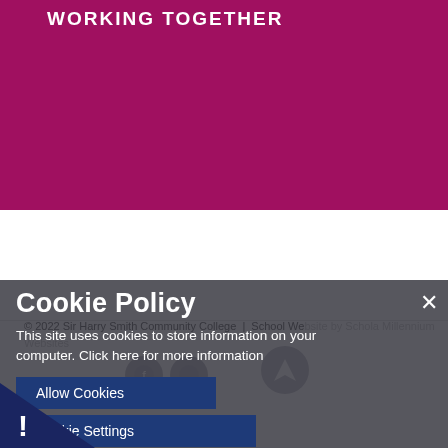[Figure (illustration): Magenta/dark pink banner rectangle at top of page]
WORKING TOGETHER
© 2022 Sir Harry Smith Community College  |  School Website by Schola Millennium Websites
Cookie Policy
This site uses cookies to store information on your computer. Click here for more information
Allow Cookies
Cookie Settings